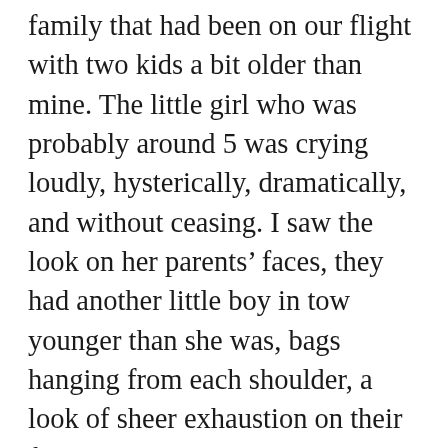family that had been on our flight with two kids a bit older than mine. The little girl who was probably around 5 was crying loudly, hysterically, dramatically, and without ceasing. I saw the look on her parents' faces, they had another little boy in tow younger than she was, bags hanging from each shoulder, a look of sheer exhaustion on their faces that I am sure mirrored ours. And then the father stopped them, looked his daughter in the face, and screamed loudly “stop crying, stop crying, STOP CRYING!” Which in turn, and without surprise, made her cry